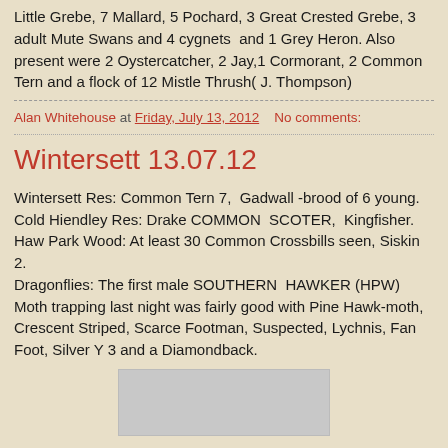Little Grebe, 7 Mallard, 5 Pochard, 3 Great Crested Grebe, 3 adult Mute Swans and 4 cygnets  and 1 Grey Heron. Also present were 2 Oystercatcher, 2 Jay,1 Cormorant, 2 Common Tern and a flock of 12 Mistle Thrush( J. Thompson)
Alan Whitehouse at Friday, July 13, 2012   No comments:
Wintersett 13.07.12
Wintersett Res: Common Tern 7,  Gadwall -brood of 6 young.
Cold Hiendley Res: Drake COMMON  SCOTER,  Kingfisher.
Haw Park Wood: At least 30 Common Crossbills seen, Siskin 2.
Dragonflies: The first male SOUTHERN  HAWKER (HPW)
Moth trapping last night was fairly good with Pine Hawk-moth, Crescent Striped, Scarce Footman, Suspected, Lychnis, Fan Foot, Silver Y 3 and a Diamondback.
[Figure (photo): A grey/light photograph partially visible at the bottom of the page]